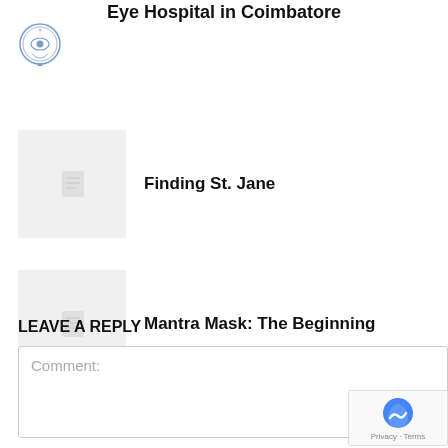Eye Hospital in Coimbatore
[Figure (logo): Circular emblem/logo with an eye symbol]
Finding St. Jane
[Figure (illustration): Gray placeholder thumbnail with document icon]
Mantra Mask: The Beginning
[Figure (illustration): Gray placeholder thumbnail with document icon]
< >
LEAVE A REPLY
Comment:
[Figure (other): reCAPTCHA badge with Privacy and Terms text]